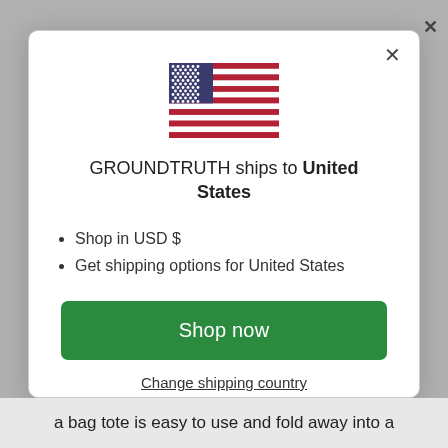[Figure (illustration): US flag inline SVG]
GROUNDTRUTH ships to United States
Shop in USD $
Get shipping options for United States
Shop now
Change shipping country
a bag tote is easy to use and fold away into a